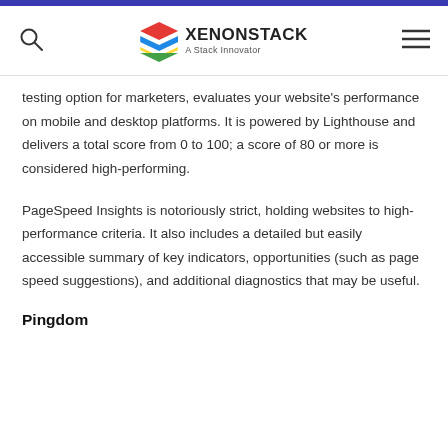XENONSTACK – A Stack Innovator
testing option for marketers, evaluates your website's performance on mobile and desktop platforms. It is powered by Lighthouse and delivers a total score from 0 to 100; a score of 80 or more is considered high-performing.
PageSpeed Insights is notoriously strict, holding websites to high-performance criteria. It also includes a detailed but easily accessible summary of key indicators, opportunities (such as page speed suggestions), and additional diagnostics that may be useful.
Pingdom